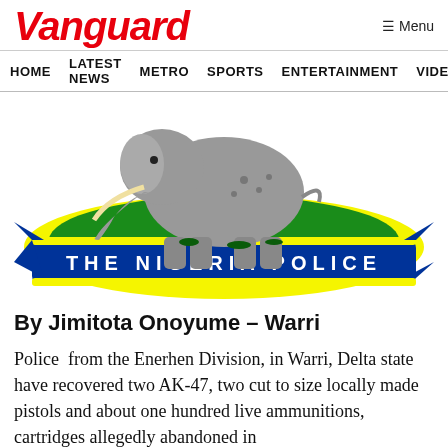Vanguard   ≡ Menu
HOME   LATEST NEWS   METRO   SPORTS   ENTERTAINMENT   VIDEOS
[Figure (logo): The Nigeria Police emblem: an elephant standing on a green mound, surrounded by a blue-and-yellow ribbon reading 'THE NIGERIA POLICE']
By Jimitota Onoyume – Warri
Police from the Enerhen Division, in Warri, Delta state have recovered two AK-47, two cut to size locally made pistols and about one hundred live ammunitions, cartridges allegedly abandoned in